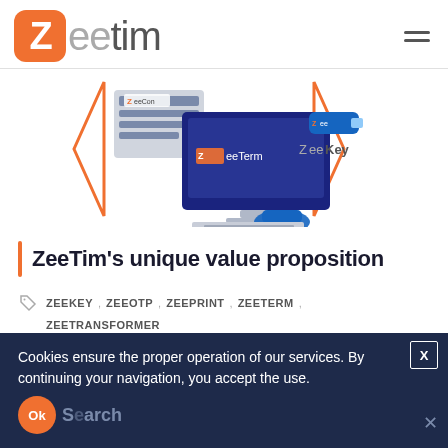[Figure (logo): ZeeTim logo with orange Z box and grey/dark text]
[Figure (illustration): Diagram showing ZeeConf server, ZeeTerm monitor, and ZeeKey USB components connected]
ZeeTim's unique value proposition
ZEEKEY , ZEEOTP , ZEEPRINT , ZEETERM , ZEETRANSFORMER
Cookies ensure the proper operation of our services. By continuing your navigation, you accept the use.